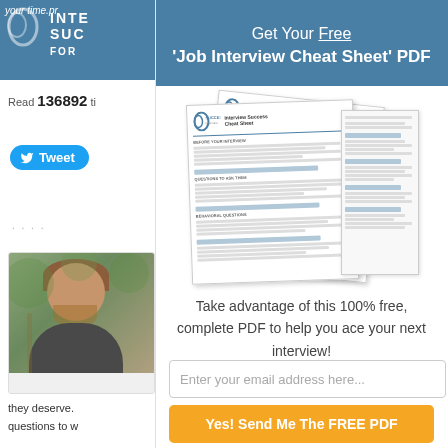[Figure (screenshot): Partial left panel of a website showing a logo area with 'INTE SUC FOR' text in a teal/blue banner, a 'Read 136892 ti...' count, a Twitter Tweet button, ellipsis dots, an author photo of a smiling young man with reddish-brown hair and beard wearing a dark shirt, and partial body text 'they deserve.' and 'questions to w...']
[Figure (screenshot): Modal popup overlay on right side showing a blue/teal header with title 'Get Your Free \'Job Interview Cheat Sheet\' PDF', two overlapping PDF document images, descriptive text, an email input field, and an orange submit button]
Get Your Free 'Job Interview Cheat Sheet' PDF
Take advantage of this 100% free, complete PDF to help you ace your next interview!
Enter your email address here...
Yes! Send Me The FREE PDF
Read 136892 ti
Tweet
they deserve.
questions to w